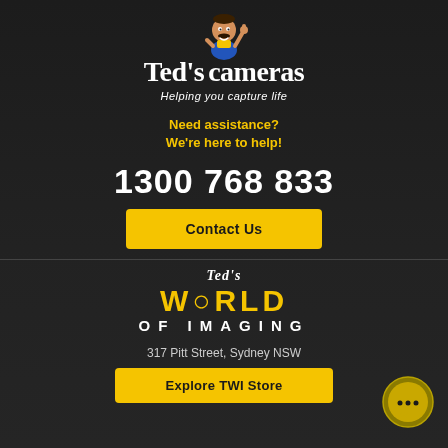[Figure (logo): Ted's Cameras logo with cartoon mascot character (man with thumbs up), bold white serif wordmark 'Ted's cameras', tagline 'Helping you capture life']
Need assistance?
We're here to help!
1300 768 833
Contact Us
[Figure (logo): Ted's World of Imaging logo - 'Ted's' in italic white serif, 'WORLD' in large yellow decorative font, 'OF IMAGING' in white uppercase tracking]
317 Pitt Street, Sydney NSW
Explore TWI Store
[Figure (illustration): Yellow circular chat/message bubble icon in bottom right corner]